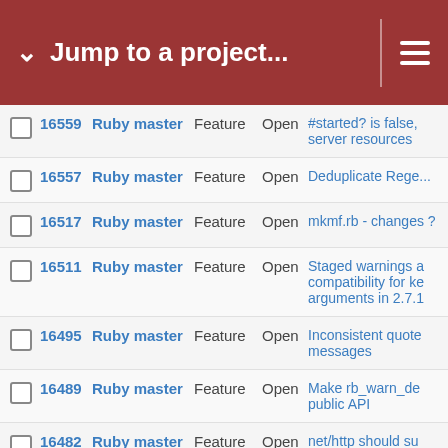Jump to a project...
|  | # | Project | Tracker | Status | Subject |
| --- | --- | --- | --- | --- | --- |
|  | 16559 | Ruby master | Feature | Open | #started? is false, server resources |
|  | 16557 | Ruby master | Feature | Open | Deduplicate Rege... |
|  | 16517 | Ruby master | Feature | Open | mkmf.rb - changes ? |
|  | 16511 | Ruby master | Feature | Open | Staged warnings a compatibility for ke arguments in 2.7.1 |
|  | 16495 | Ruby master | Feature | Open | Inconsistent quote messages |
|  | 16489 | Ruby master | Feature | Open | Make rb_warn_de public API |
|  | 16482 | Ruby master | Feature | Open | net/http should su connection to pro> |
|  | 16479 | Ruby master | Feature | Open | Let execution con storage be backe< |
|  | 16478 | Ruby master | Feature | Open | Fold symbol table: basic operation m redefinition chang ID table |